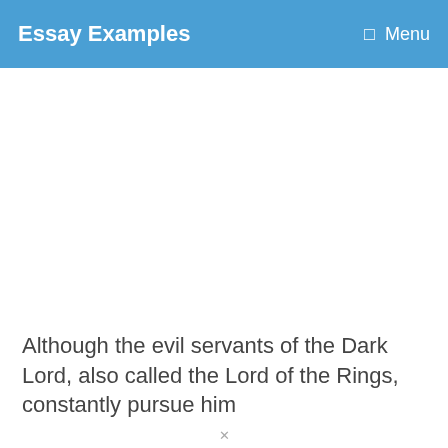Essay Examples   Menu
Although the evil servants of the Dark Lord, also called the Lord of the Rings, constantly pursue him